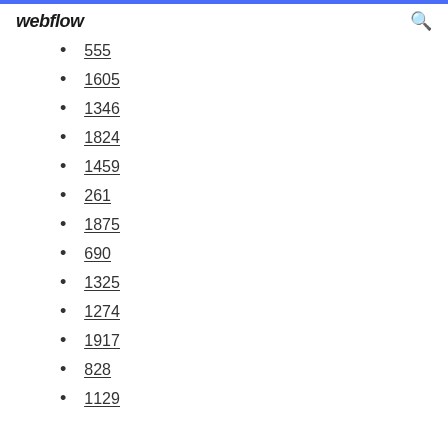webflow
555
1605
1346
1824
1459
261
1875
690
1325
1274
1917
828
1129